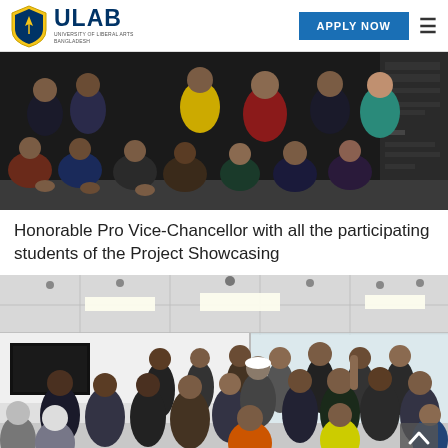ULAB — UNIVERSITY OF LIBERAL ARTS BANGLADESH | APPLY NOW
[Figure (photo): Group photo of students sitting together, Honorable Pro Vice-Chancellor with participating students of the Project Showcasing]
Honorable Pro Vice-Chancellor with all the participating students of the Project Showcasing
[Figure (photo): Indoor event scene at ULAB with a crowd of students and faculty gathered in a modern room during Project Showcasing event]